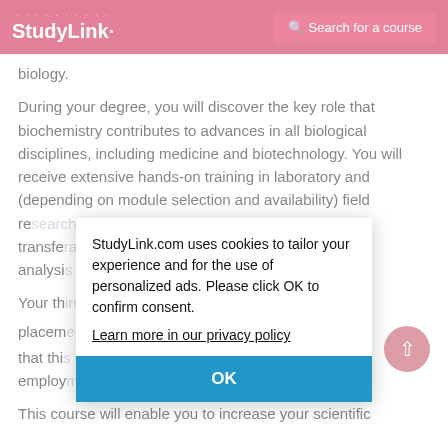StudyLink — Search for a course
biology.
During your degree, you will discover the key role that biochemistry contributes to advances in all biological disciplines, including medicine and biotechnology. You will receive extensive hands-on training in laboratory and (depending on module selection and availability) field research techniques, and develop widely transferable skills in computing, statistics, data analysis and presentation.
Your third year includes a professional work placement and evidence shows that this greatly enhances your subsequent employment prospects.
This course will enable you to increase your scientific
StudyLink.com uses cookies to tailor your experience and for the use of personalized ads. Please click OK to confirm consent.
Learn more in our privacy policy
OK